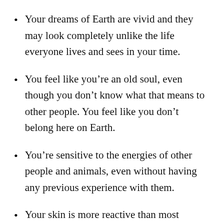Your dreams of Earth are vivid and they may look completely unlike the life everyone lives and sees in your time.
You feel like you’re an old soul, even though you don’t know what that means to other people. You feel like you don’t belong here on Earth.
You’re sensitive to the energies of other people and animals, even without having any previous experience with them.
Your skin is more reactive than most people you know.